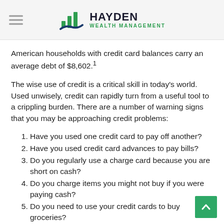HAYDEN WEALTH MANAGEMENT
American households with credit card balances carry an average debt of $8,602.¹
The wise use of credit is a critical skill in today's world. Used unwisely, credit can rapidly turn from a useful tool to a crippling burden. There are a number of warning signs that you may be approaching credit problems:
Have you used one credit card to pay off another?
Have you used credit card advances to pay bills?
Do you regularly use a charge card because you are short on cash?
Do you charge items you might not buy if you were paying cash?
Do you need to use your credit cards to buy groceries?
Are you reluctant to open monthly statements from creditors?
Do you regularly charge more each month than you